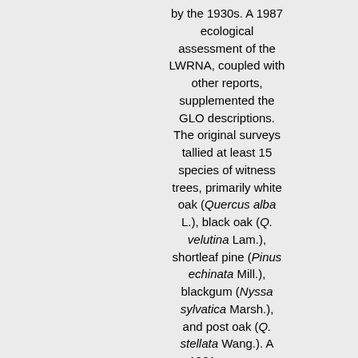by the 1930s. A 1987 ecological assessment of the LWRNA, coupled with other reports, supplemented the GLO descriptions. The original surveys tallied at least 15 species of witness trees, primarily white oak (Quercus alba L.), black oak (Q. velutina Lam.), shortleaf pine (Pinus echinata Mill.), blackgum (Nyssa sylvatica Marsh.), and post oak (Q. stellata Wang.). A 1931 resurvey identified at least 14 taxa, but by then the witness trees had become